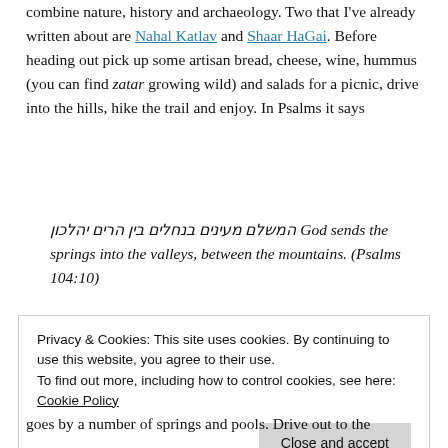combine nature, history and archaeology. Two that I've already written about are Nahal Katlav and Shaar HaGai. Before heading out pick up some artisan bread, cheese, wine, hummus (you can find zatar growing wild) and salads for a picnic, drive into the hills, hike the trail and enjoy. In Psalms it says
המשלם מעינים בנחלים בין הרים יהלכון God sends the springs into the valleys, between the mountains. (Psalms 104:10)
Privacy & Cookies: This site uses cookies. By continuing to use this website, you agree to their use. To find out more, including how to control cookies, see here: Cookie Policy
goes by a number of springs and pools. Drive out to the